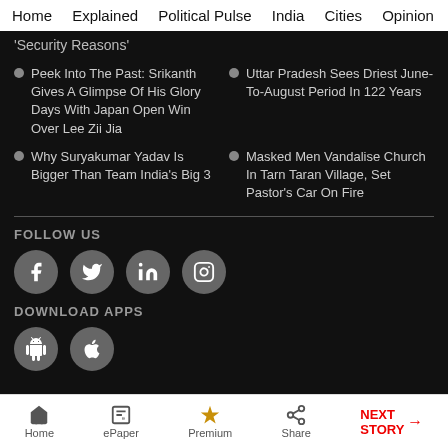Home  Explained  Political Pulse  India  Cities  Opinion  Entertainment
'Security Reasons'
Peek Into The Past: Srikanth Gives A Glimpse Of His Glory Days With Japan Open Win Over Lee Zii Jia
Uttar Pradesh Sees Driest June-To-August Period In 122 Years
Why Suryakumar Yadav Is Bigger Than Team India's Big 3
Masked Men Vandalise Church In Tarn Taran Village, Set Pastor's Car On Fire
FOLLOW US
[Figure (infographic): Social media icons: Facebook, Twitter, LinkedIn, Instagram]
DOWNLOAD APPS
[Figure (infographic): App store icons: Android, Apple]
Home  ePaper  Premium  Share  NEXT STORY →